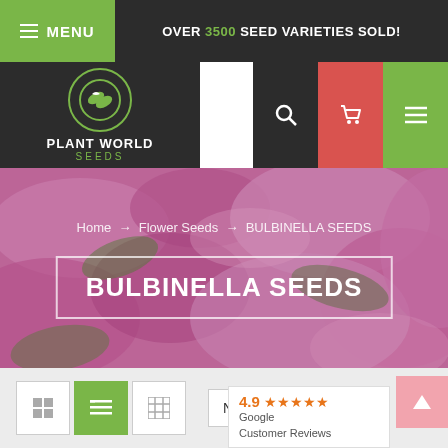MENU | OVER 3500 SEED VARIETIES SOLD!
[Figure (logo): Plant World Seeds logo — circular green leaf emblem with PLANT WORLD SEEDS text]
[Figure (screenshot): Navigation icon bar with search, cart, and menu icons]
[Figure (photo): Hero background of pink blurred flowers]
Home → Flower Seeds → BULBINELLA SEEDS
BULBINELLA SEEDS
[Figure (infographic): View toggle icons (grid, list, table) and Name sort dropdown with 4.9 Google Customer Reviews badge]